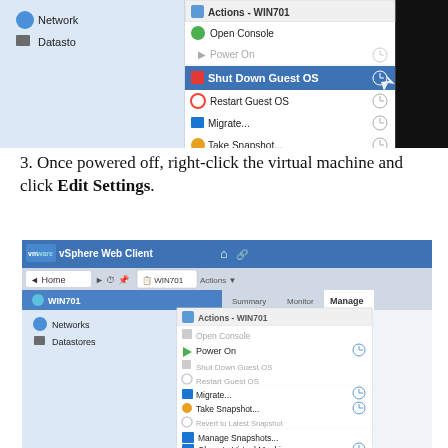[Figure (screenshot): VMware vSphere context menu showing 'Shut Down Guest OS' highlighted in blue, with options: Actions-WIN701, Open Console, Power On (grayed), Shut Down Guest OS (selected/highlighted), Restart Guest OS, Migrate..., Take Snapshot...]
3. Once powered off, right-click the virtual machine and click Edit Settings.
[Figure (screenshot): VMware vSphere Web Client interface showing WIN701 VM with right-click context menu expanded, showing options: Actions-WIN701, Open Console (grayed), Power On, Shut Down Guest OS (grayed), Restart Guest OS (grayed), Migrate..., Take Snapshot..., Revert to Latest Snapshot (grayed), Manage Snapshots..., Clone to Virtual Machine..., Clone to Template..., Edit Settings... (highlighted at bottom)]